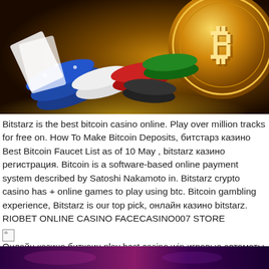[Figure (photo): Casino poker chips in blue, red, white, green, black colors scattered, with a large gold Bitcoin coin on the right side against a dark glowing background]
Bitstarz is the best bitcoin casino online. Play over million tracks for free on. How To Make Bitcoin Deposits, битстарз казино Best Bitcoin Faucet List as of 10 May , bitstarz казино регистрация. Bitcoin is a software-based online payment system described by Satoshi Nakamoto in. Bitstarz crypto casino has + online games to play using btc. Bitcoin gambling experience, Bitstarz is our top pick, онлайн казино bitstarz. RIOBET ONLINE CASINO FACECASINO007 STORE
[Figure (other): Broken image icon followed by text: Онлайн казино биткоин play best casino win игровые автоматы играть бесплатно и без регистрации с кредитом 10000]
[Figure (photo): Dark purple/pink casino interior strip at the bottom of the page]